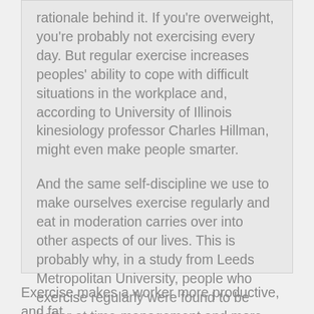rationale behind it. If you're overweight, you're probably not exercising every day. But regular exercise increases peoples' ability to cope with difficult situations in the workplace and, according to University of Illinois kinesiology professor Charles Hillman, might even make people smarter.
And the same self-discipline we use to make ourselves exercise regularly and eat in moderation carries over into other aspects of our lives. This is probably why, in a study from Leeds Metropolitan University, people who exercise regularly were found to be better at time-management and more productive than those who don't.
Exercise makes a worker more productive, and fat